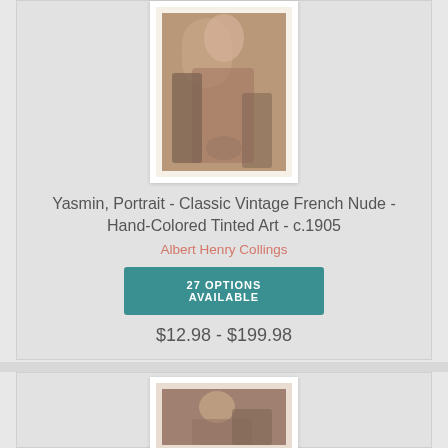[Figure (photo): Vintage hand-colored photo of a standing woman in draped fabric, classic French nude art circa 1905]
Yasmin, Portrait - Classic Vintage French Nude - Hand-Colored Tinted Art - c.1905
Albert Henry Collings
27 OPTIONS AVAILABLE
$12.98 - $199.98
[Figure (photo): Second vintage sepia-toned photo of a woman, partial view showing top portion]